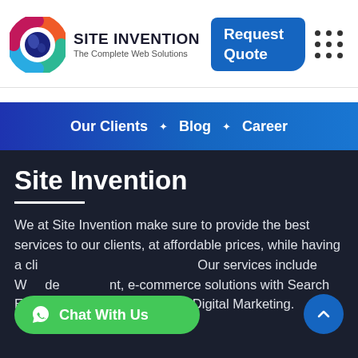[Figure (logo): Site Invention logo: colorful circular icon with orange, green, teal, and pink segments around a dark blue center, with 'SITE INVENTION' in bold and 'The Complete Web Solutions' subtitle]
[Figure (other): Blue rounded rectangle button with text 'Request Quote' in white bold]
[Figure (other): 3x3 grid of dark dots (menu/hamburger grid icon)]
Our Clients * Blog * Career
Site Invention
We at Site Invention make sure to provide the best services to our clients, at affordable prices, while having a client... Our services include Web development, e-commerce solutions with Search Engine Optimization (SEO), & Digital Marketing.
[Figure (other): Green pill-shaped Chat With Us button with WhatsApp icon on the left]
[Figure (other): Blue circle scroll-up button with upward chevron arrow]